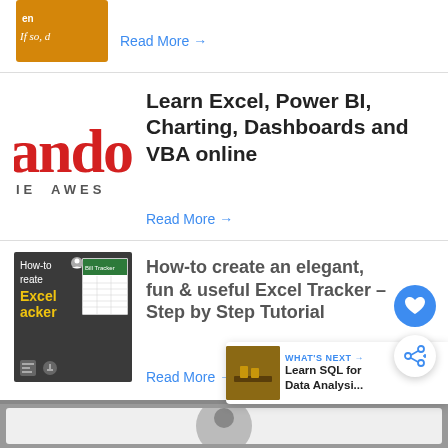[Figure (illustration): Partial book/article thumbnail with orange background showing italic text 'If so, d...' and 'en...']
Read More →
[Figure (logo): Partial logo showing red bold text 'ando' in large serif font and 'IE AWES' in grey spaced caps below]
Learn Excel, Power BI, Charting, Dashboards and VBA online
Read More →
[Figure (screenshot): Thumbnail for Excel Tracker tutorial showing dark background with yellow text 'create Excel acker' and a spreadsheet screenshot on the right]
How-to create an elegant, fun & useful Excel Tracker – Step by Step Tutorial
Read More →
[Figure (photo): Bottom partial card showing a video thumbnail with an avatar/portrait circle on grey background]
WHAT'S NEXT → Learn SQL for Data Analysi...